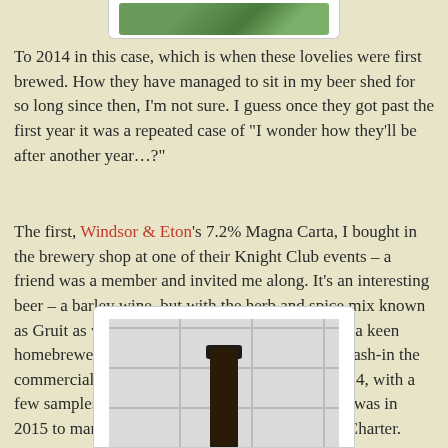[Figure (photo): Top portion of a photo showing greenery, partially cropped at top of page, inside a white card/frame]
To 2014 in this case, which is when these lovelies were first brewed. How they have managed to sit in my beer shed for so long since then, I'm not sure. I guess once they got past the first year it was a repeated case of “I wonder how they’ll be after another year…?”
The first, Windsor & Eton's 7.2% Magna Carta, I bought in the brewery shop at one of their Knight Club events – a friend was a member and invited me along. It’s an interesting beer – a barley wine, but with the herb and spice mix known as Gruit as well as hops, and based on a recipe by a keen homebrewer local to Windsor, who then helped mash-in the commercial brew. And while it was brewed in 2014, with a few samples escaping that year, its proper release was in 2015 to mark 800 years of the eponymous Great Charter.
[Figure (photo): Bottom portion of a dark beer bottle neck against white tiles with grout lines, inside a white card/frame, cropped at bottom of page]